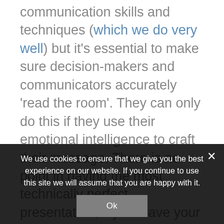communication skills and techniques (which we do very well) but it's essential to make sure decision-makers and communicators accurately 'read the room'. They can only do this if they use their emotional intelligence to craft their message. There is no point in having the most technically perfect presentation, if you leave your audience feeling undervalued by your words and demeanour. Yes, it is important to appear
We use cookies to ensure that we give you the best experience on our website. If you continue to use this site we will assume that you are happy with it.